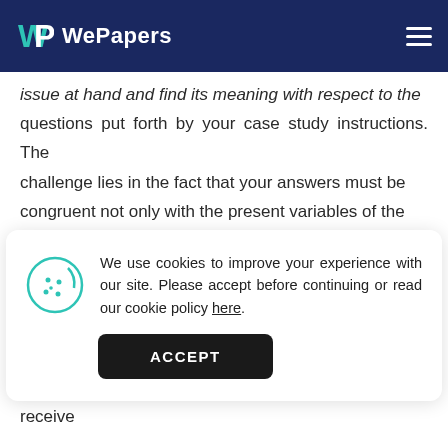WePapers
issue at hand and find its meaning with respect to the questions put forth by your case study instructions. The challenge lies in the fact that your answers must be congruent not only with the present variables of the
We use cookies to improve your experience with our site. Please accept before continuing or read our cookie policy here.
Our hope is that the benefits of using case study assignment help will extend beyond the immediate academic results. By having a chance to learn from the best academic writers, your study routines will receive